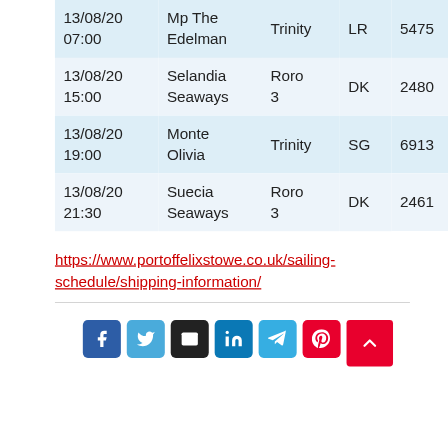| Date/Time | Vessel | Terminal | Flag | IMO |
| --- | --- | --- | --- | --- |
| 13/08/20 07:00 | Mp The Edelman | Trinity | LR | 5475... |
| 13/08/20 15:00 | Selandia Seaways | Roro 3 | DK | 2480... |
| 13/08/20 19:00 | Monte Olivia | Trinity | SG | 6913... |
| 13/08/20 21:30 | Suecia Seaways | Roro 3 | DK | 2461... |
https://www.portoffelixstowe.co.uk/sailing-schedule/shipping-information/